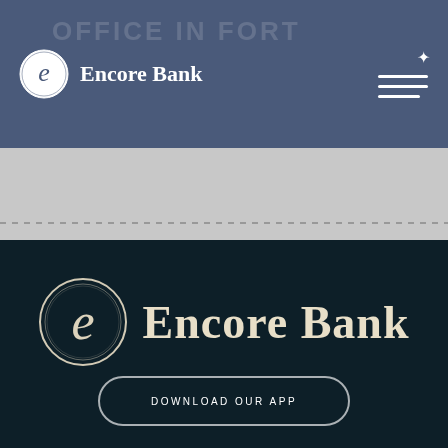[Figure (logo): Encore Bank header navigation bar with logo (circular e emblem and 'Encore Bank' text in white) on slate blue background, hamburger menu with sparkle icon on right, faint 'OFFICE IN FORT' text in background]
[Figure (illustration): Light grey content area with dashed horizontal divider line]
[Figure (logo): Encore Bank footer logo on dark navy background — large circular e emblem with 'Encore Bank' text in cream/beige]
DOWNLOAD OUR APP